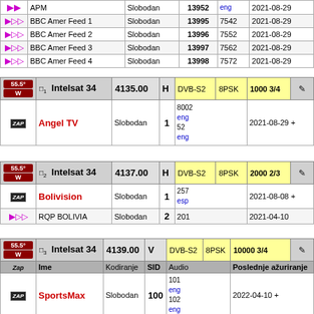| Icon | Name | Kodiranje | SID | Audio | Poslednje ažuriranje |
| --- | --- | --- | --- | --- | --- |
| [icon] | APM | Slobodan | 13952 | eng | 2021-08-29 |
| [icon] | BBC Amer Feed 1 | Slobodan | 13995 | 7542 | 2021-08-29 |
| [icon] | BBC Amer Feed 2 | Slobodan | 13996 | 7552 | 2021-08-29 |
| [icon] | BBC Amer Feed 3 | Slobodan | 13997 | 7562 | 2021-08-29 |
| [icon] | BBC Amer Feed 4 | Slobodan | 13998 | 7572 | 2021-08-29 |
| 55.5° W | Intelsat 34 | 4135.00 | H | DVB-S2 | 8PSK | 1000 3/4 | [icon] |
| --- | --- | --- | --- | --- | --- | --- | --- |
| [ZAP] | Angel TV | Slobodan | 1 | 8002 eng 52 eng | 2021-08-29 + |
| 55.5° W | Intelsat 34 | 4137.00 | H | DVB-S2 | 8PSK | 2000 2/3 | [icon] |
| --- | --- | --- | --- | --- | --- | --- | --- |
| [ZAP] | Bolivision | Slobodan | 1 | 257 esp | 2021-08-08 + |
| [icon] | RQP BOLIVIA | Slobodan | 2 | 201 | 2021-04-10 |
| 55.5° W | Intelsat 34 | 4139.00 | V | DVB-S2 | 8PSK | 10000 3/4 | [icon] |
| --- | --- | --- | --- | --- | --- | --- | --- |
| [icon] | Ime | Kodiranje | SID | Audio | Poslednje ažuriranje |
| [ZAP] | SportsMax | Slobodan | 100 | 101 eng 102 eng | 2022-04-10 + |
| [ZAP] | SportsMax 2 | Slobodan | 200 | 201 eng 202 eng | 2022-04-10 + |